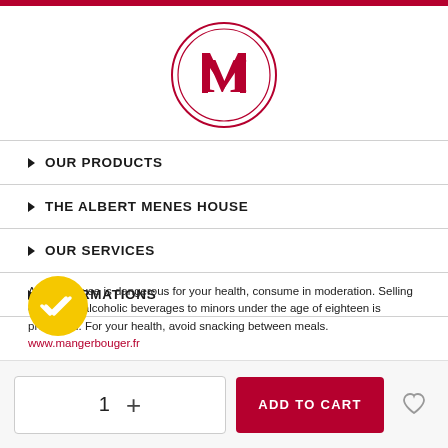[Figure (logo): Albert Menes circular logo with stylized AM monogram in red]
OUR PRODUCTS
THE ALBERT MENES HOUSE
OUR SERVICES
INFORMATIONS
Alcohol abuse is dangerous for your health, consume in moderation. Selling or offering alcoholic beverages to minors under the age of eighteen is prohibited. For your health, avoid snacking between meals. www.mangerbouger.fr